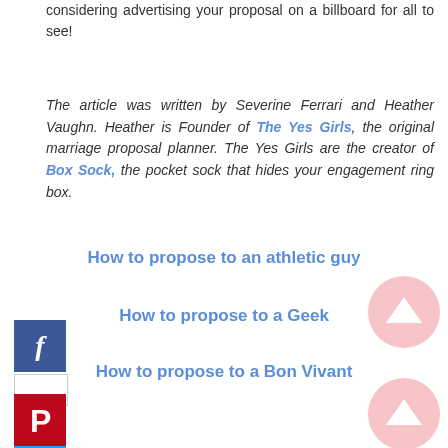considering advertising your proposal on a billboard for all to see!
The article was written by Severine Ferrari and Heather Vaughn. Heather is Founder of The Yes Girls, the original marriage proposal planner. The Yes Girls are the creator of Box Sock, the pocket sock that hides your engagement ring box.
How to propose to an athletic guy
How to propose to a Geek
How to propose to a Bon Vivant
[Figure (illustration): Facebook social share icon (blue square with white italic f)]
[Figure (illustration): Blank white social share button]
[Figure (illustration): Twitter social share icon (blue square with white bird)]
[Figure (illustration): Pinterest social share icon (red square with white P)]
[Figure (illustration): Pink circle with white up arrow (scroll to top button)]
[Figure (illustration): Pink circle with white up arrow (scroll to top button)]